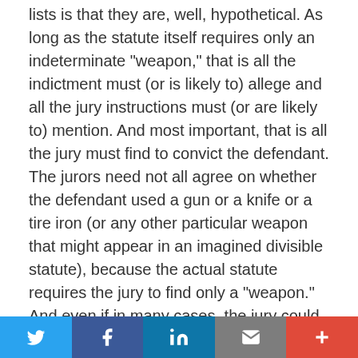lists is that they are, well, hypothetical. As long as the statute itself requires only an indeterminate "weapon," that is all the indictment must (or is likely to) allege and all the jury instructions must (or are likely to) mention. And most important, that is all the jury must find to convict the defendant. The jurors need not all agree on whether the defendant used a gun or a knife or a tire iron (or any other particular weapon that might appear in an imagined divisible statute), because the actual statute requires the jury to find only a "weapon." And even if in many cases, the jury could have readily reached consensus on the weapon used, a later sentencing court cannot supply that missing judgment. Whatever the underlying facts or the evidence presented, the defendant still would not have been convicted, in the deliberate and considered way the Constitution guarantees, of an offense with the same (or narrower) elements as the
[Figure (other): Social share bar with Twitter, Facebook, LinkedIn, Email, and Plus buttons]